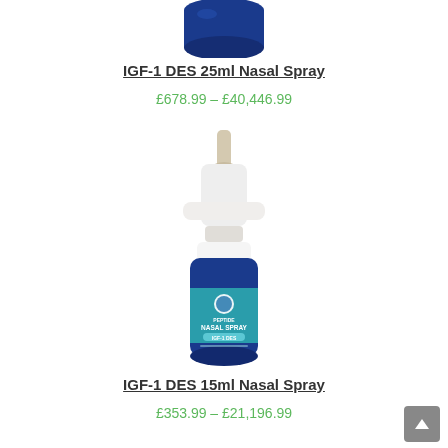[Figure (photo): Top portion of a blue nasal spray container (partially visible, cut off at top)]
IGF-1 DES 25ml Nasal Spray
£678.99 – £40,446.99
[Figure (photo): A blue glass nasal spray bottle with white pump nozzle. Label reads: PEPTIDE NASAL SPRAY IGF-1 DES, with a circular logo at top.]
IGF-1 DES 15ml Nasal Spray
£353.99 – £21,196.99